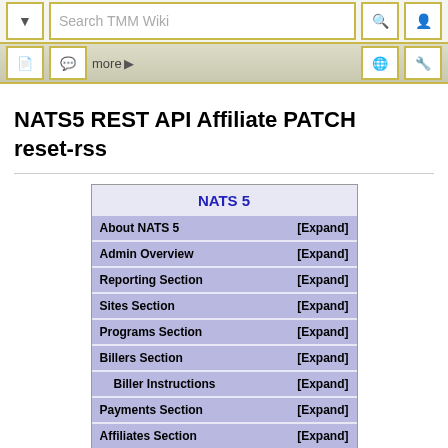Search TMM Wiki toolbar with navigation buttons
NATS5 REST API Affiliate PATCH reset-rss
| NATS 5 |  |
| --- | --- |
| About NATS 5 | [Expand] |
| Admin Overview | [Expand] |
| Reporting Section | [Expand] |
| Sites Section | [Expand] |
| Programs Section | [Expand] |
| Billers Section | [Expand] |
| Biller Instructions | [Expand] |
| Payments Section | [Expand] |
| Affiliates Section | [Expand] |
| Members Section | [Expand] |
| Ad Tools Section | [Expand] |
| Cross/Up Sales Section | [Expand] |
| Third Party Section | [Expand] |